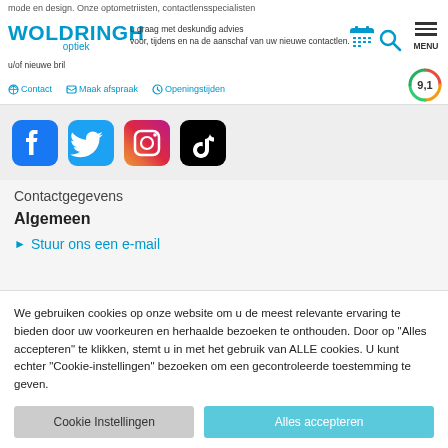mode en design. Onze optometriisten, contactlensspecialisten
[Figure (logo): Woldringh optiek logo in blue]
u graag met deskundig advies voor, tijdens en na de aanschaf van uw nieuwe contactlen...
u/of nieuwe bril
Contact   Maak afspraak   Openingstijden
[Figure (infographic): Rating badge showing 9,1]
[Figure (infographic): Social media icons: Facebook, Twitter, Instagram, TikTok]
Contactgegevens
Algemeen
Stuur ons een e-mail
We gebruiken cookies op onze website om u de meest relevante ervaring te bieden door uw voorkeuren en herhaalde bezoeken te onthouden. Door op "Alles accepteren" te klikken, stemt u in met het gebruik van ALLE cookies. U kunt echter "Cookie-instellingen" bezoeken om een gecontroleerde toestemming te geven.
Cookie Instellingen   Alles accepteren